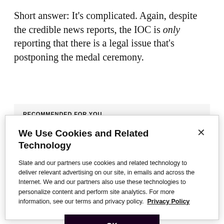Short answer: It's complicated. Again, despite the credible news reports, the IOC is only reporting that there is a legal issue that's postponing the medal ceremony.
RECOMMENDED FOR YOU
[Figure (photo): Dark background image partially visible behind cookie modal]
We Use Cookies and Related Technology
Slate and our partners use cookies and related technology to deliver relevant advertising on our site, in emails and across the Internet. We and our partners also use these technologies to personalize content and perform site analytics. For more information, see our terms and privacy policy. Privacy Policy
OK